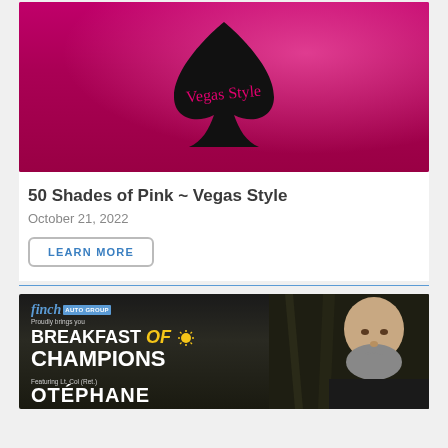[Figure (photo): Pink/magenta themed event image with a large black spade symbol and 'Vegas Style' script text over a cityscape background]
50 Shades of Pink ~ Vegas Style
October 21, 2022
LEARN MORE
[Figure (photo): Finch Auto Group Breakfast of Champions promotional image featuring a bald man with beard, text includes 'Proudly brings you', 'BREAKFAST of CHAMPIONS', 'Featuring Lt. Col (Ret.)', 'OTÉPHANE']